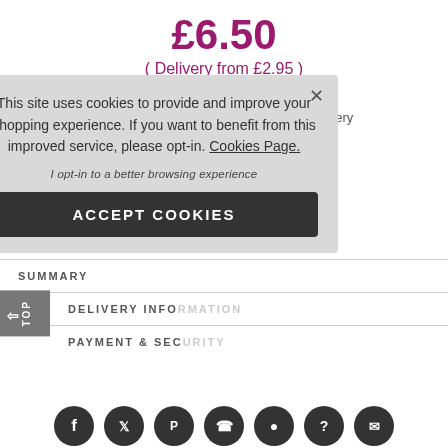£6.50
( Delivery from £2.95 )
Offers:
Spend £40 to get Free 1st Class UK Delivery
Free Nail File With All Orders Over £50
Loading...
GIFT V... Available H...
SUMMARY
DELIVERY INFO
PAYMENT & SEC
[Figure (screenshot): Cookie consent popup overlay on e-commerce page with text: 'This site uses cookies to provide and improve your shopping experience. If you want to benefit from this improved service, please opt-in. Cookies Page.' with opt-in text and ACCEPT COOKIES button]
I opt-in to a better browsing experience
ACCEPT COOKIES